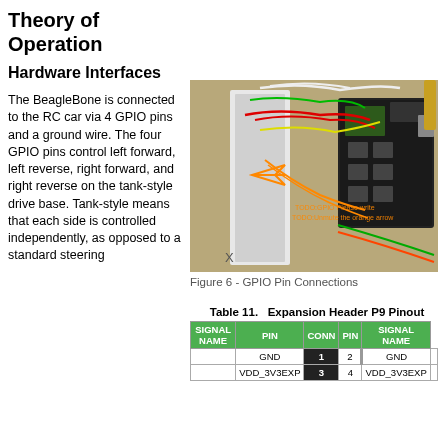Theory of Operation
Hardware Interfaces
The BeagleBone is connected to the RC car via 4 GPIO pins and a ground wire. The four GPIO pins control left forward, left reverse, right forward, and right reverse on the tank-style drive base. Tank-style means that each side is controlled independently, as opposed to a standard steering
[Figure (photo): Photo of BeagleBone connected to breadboard with colored wires for GPIO pin connections to RC car. Orange arrow annotations and orange text overlay indicating GPIO connections.]
Figure 6 - GPIO Pin Connections
| SIGNAL NAME | PIN | CONN | PIN | SIGNAL NAME |
| --- | --- | --- | --- | --- |
|  | GND | 1 | 2 | GND |  |
|  | VDD_3V3EXP | 3 | 4 | VDD_3V3EXP |  |